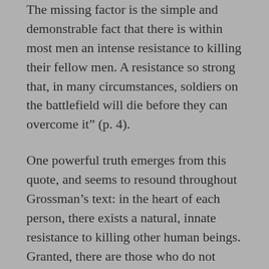The missing factor is the simple and demonstrable fact that there is within most men an intense resistance to killing their fellow men. A resistance so strong that, in many circumstances, soldiers on the battlefield will die before they can overcome it" (p. 4).
One powerful truth emerges from this quote, and seems to resound throughout Grossman's text: in the heart of each person, there exists a natural, innate resistance to killing other human beings. Granted, there are those who do not carry this resistance internally, and we call those people sociopaths. Yet those within this very small percentage of our population feel no remorse at hurting other people in any way at all. They lack the mechanism that recognizes